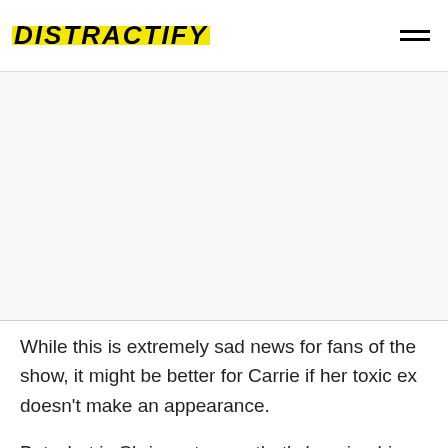DISTRACTIFY
[Figure (other): Advertisement/blank content area]
While this is extremely sad news for fans of the show, it might be better for Carrie if her toxic ex doesn't make an appearance.
But what is Chris up to now that's keeping him so busy he